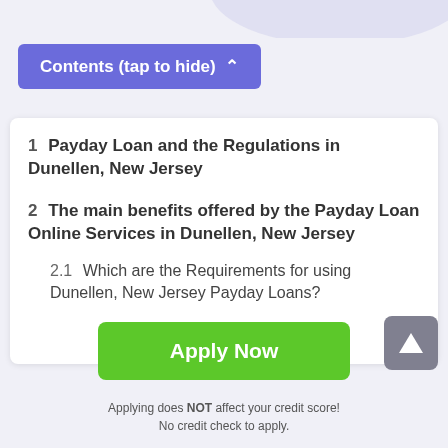Contents (tap to hide) ^
1  Payday Loan and the Regulations in Dunellen, New Jersey
2  The main benefits offered by the Payday Loan Online Services in Dunellen, New Jersey
2.1  Which are the Requirements for using Dunellen, New Jersey Payday Loans?
Apply Now
Applying does NOT affect your credit score!
No credit check to apply.